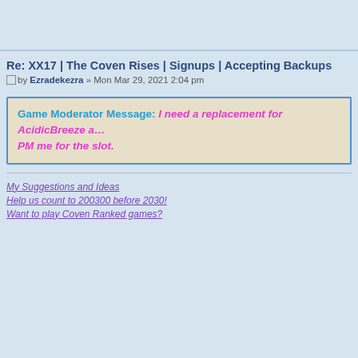Re: XX17 | The Coven Rises | Signups | Accepting Backups
by Ezradekezra » Mon Mar 29, 2021 2:04 pm
Game Moderator Message: I need a replacement for AcidicBreeze a… PM me for the slot.
My Suggestions and Ideas
Help us count to 200300 before 2030!
Want to play Coven Ranked games?